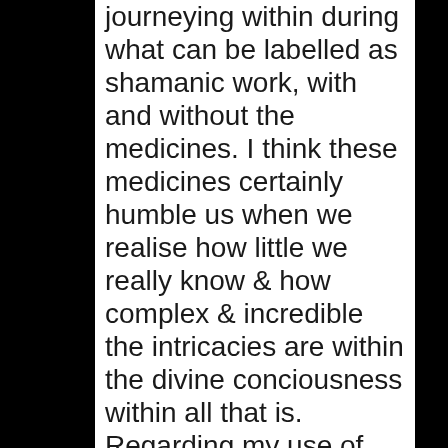journeying within during what can be labelled as shamanic work, with and without the medicines. I think these medicines certainly humble us when we realise how little we really know & how complex & incredible the intricacies are within the divine conciousness within all that is. Regarding my use of sound, I've learnt a lot of from spirit about how to use sound, and the greatest skill I've found is in trying